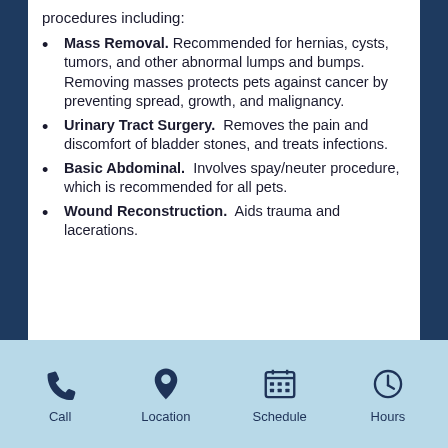procedures including:
Mass Removal. Recommended for hernias, cysts, tumors, and other abnormal lumps and bumps. Removing masses protects pets against cancer by preventing spread, growth, and malignancy.
Urinary Tract Surgery. Removes the pain and discomfort of bladder stones, and treats infections.
Basic Abdominal. Involves spay/neuter procedure, which is recommended for all pets.
Wound Reconstruction. Aids trauma and lacerations.
Spay/Neuter Procedure
Spay/neuter procedure fits to pets...
Call | Location | Schedule | Hours